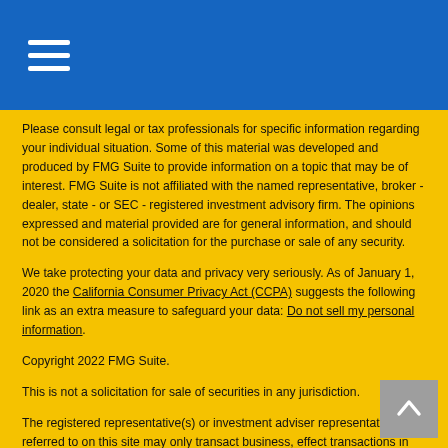Please consult legal or tax professionals for specific information regarding your individual situation. Some of this material was developed and produced by FMG Suite to provide information on a topic that may be of interest. FMG Suite is not affiliated with the named representative, broker - dealer, state - or SEC - registered investment advisory firm. The opinions expressed and material provided are for general information, and should not be considered a solicitation for the purchase or sale of any security.
We take protecting your data and privacy very seriously. As of January 1, 2020 the California Consumer Privacy Act (CCPA) suggests the following link as an extra measure to safeguard your data: Do not sell my personal information.
Copyright 2022 FMG Suite.
This is not a solicitation for sale of securities in any jurisdiction.
The registered representative(s) or investment adviser representative(s) referred to on this site may only transact business, effect transactions in securities, or render personalized investment advice for compensation, in compliance with state registration requirements, or an applicable exemption or exclusion.
This site is published for residents of the United States only. Registered Representatives of Cetera Financial Specialists LLC may only conduct business with residents of the states and/or jurisdictions in which they are properly registered. Not all of the products and services referenced on this site may be available in every state and through every representative listed.